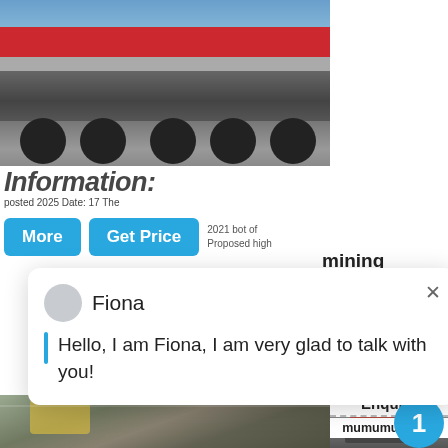[Figure (photo): Red truck/transport vehicle on flatbed trailer, top portion of page]
Information: posted 2025 Date: 17 The
2021 bot of Proposed high
[Figure (screenshot): More and Get Price buttons in blue]
mining supplies south africa ore
[Figure (screenshot): Chat popup with Fiona avatar saying Hello, I am Fiona, I am very glad to talk with you!]
[Figure (photo): Mining excavation site with machinery and rubble]
[Figure (photo): Cone crusher equipment on right side]
1
Click me to chat>>
Enquiry
mumumugoods